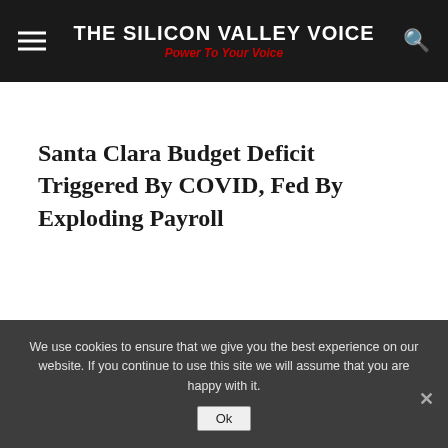THE SILICON VALLEY VOICE — Power To Your Voice
Santa Clara Budget Deficit Triggered By COVID, Fed By Exploding Payroll
We use cookies to ensure that we give you the best experience on our website. If you continue to use this site we will assume that you are happy with it.